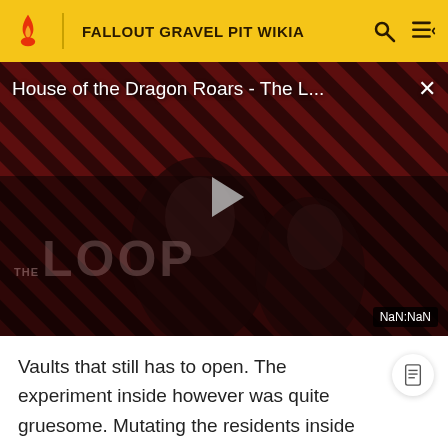FALLOUT GRAVEL PIT WIKIA
[Figure (screenshot): Video player thumbnail showing 'House of the Dragon Roars - The L...' with a dark diagonal striped background, two figures visible, a play button in the center, 'THE LOOP' watermark text, and NaN:NaN timer display.]
Vaults that still has to open. The experiment inside however was quite gruesome. Mutating the residents inside into eye-less feral monsters that live in perpetual darkness.